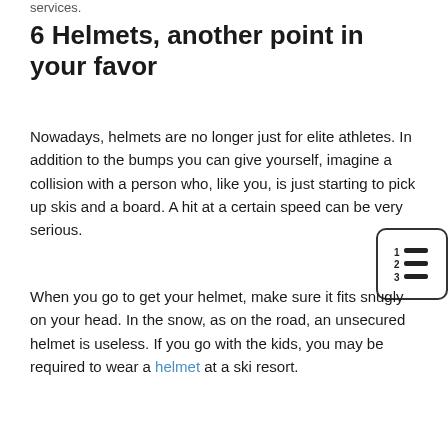services.
6 Helmets, another point in your favor
Nowadays, helmets are no longer just for elite athletes. In addition to the bumps you can give yourself, imagine a collision with a person who, like you, is just starting to pick up skis and a board. A hit at a certain speed can be very serious.
When you go to get your helmet, make sure it fits snugly on your head. In the snow, as on the road, an unsecured helmet is useless. If you go with the kids, you may be required to wear a helmet at a ski resort.